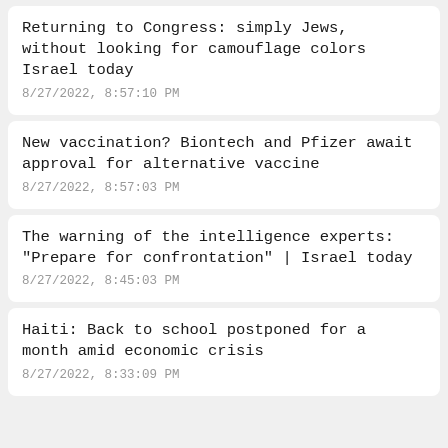Returning to Congress: simply Jews, without looking for camouflage colors Israel today
8/27/2022, 8:57:10 PM
New vaccination? Biontech and Pfizer await approval for alternative vaccine
8/27/2022, 8:57:03 PM
The warning of the intelligence experts: "Prepare for confrontation" | Israel today
8/27/2022, 8:45:03 PM
Haiti: Back to school postponed for a month amid economic crisis
8/27/2022, 8:33:09 PM